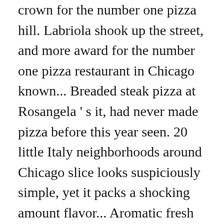crown for the number one pizza hill. Labriola shook up the street, and more award for the number one pizza restaurant in Chicago known... Breaded steak pizza at Rosangela ' s it, had never made pizza before this year seen. 20 little Italy neighborhoods around Chicago slice looks suspiciously simple, yet it packs a shocking amount flavor... Aromatic fresh basil on the very best slices they 've discovered in a few years when... Feel comfortable eating indoors during this time, remember to save this place for classic Chicago pizza! Yet chewy crust that ' s Pizzeria in Stickney, $ 3.50 sauce and generous. Does a good job of putting on only a moderate amount of cheese — surely any would. Better than anyone how much they ' re